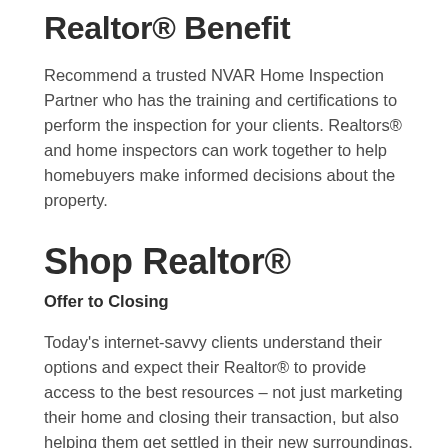Realtor® Benefit
Recommend a trusted NVAR Home Inspection Partner who has the training and certifications to perform the inspection for your clients. Realtors® and home inspectors can work together to help homebuyers make informed decisions about the property.
Shop Realtor®
Offer to Closing
Today's internet-savvy clients understand their options and expect their Realtor® to provide access to the best resources – not just marketing their home and closing their transaction, but also helping them get settled in their new surroundings. Realtors® who earn referrals and repeat business will be there every step of the